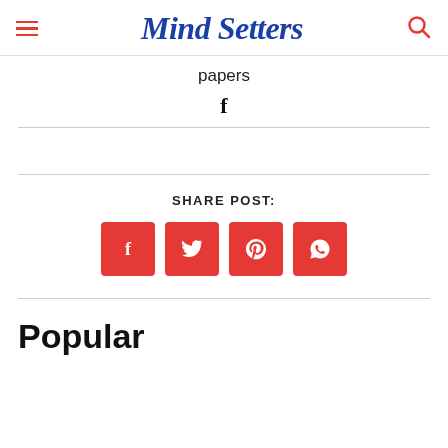Mind Setters
papers
[Figure (illustration): Facebook icon (f)]
SHARE POST:
[Figure (infographic): Four red share buttons: Facebook, Twitter, Pinterest, WhatsApp]
Popular